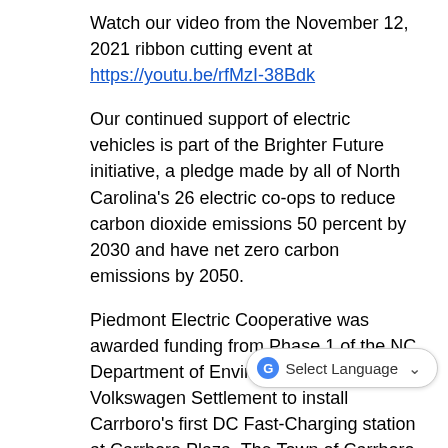Watch our video from the November 12, 2021 ribbon cutting event at https://youtu.be/rfMzI-38Bdk
Our continued support of electric vehicles is part of the Brighter Future initiative, a pledge made by all of North Carolina's 26 electric co-ops to reduce carbon dioxide emissions 50 percent by 2030 and have net zero carbon emissions by 2050.
Piedmont Electric Cooperative was awarded funding from Phase 1 of the NC Department of Environment Quality Volkswagen Settlement to install Carrboro's first DC Fast-Charging station at Carrboro Plaza. The Town of Carrboro contributed funding to Piedmont's match for the grant, as the project aligns with goals to reduce community transportation emissions in the Community Climate Action Plan.
DC fast charging is essential for high distance driving and large fleets. The quick turnaround enables drivers to recharge during their day or on a small